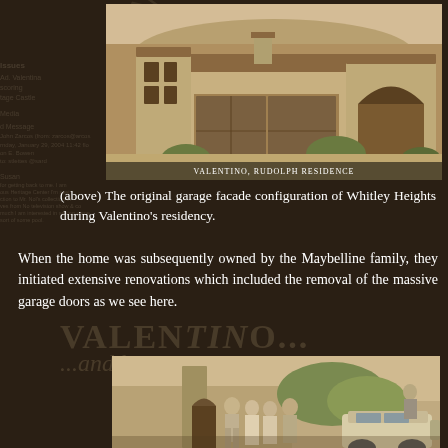[Figure (photo): Sepia-toned historic photograph of the Valentino, Rudolph Residence showing the original garage facade configuration of a Spanish-style home in Whitley Heights. Caption reads 'VALENTINO, RUDOLPH RESIDENCE' at the bottom of the image.]
(above) The original garage facade configuration of Whitley Heights during Valentino's residency.
When the home was subsequently owned by the Maybelline family, they initiated extensive renovations which included the removal of the massive garage doors as we see here.
[Figure (photo): Sepia-toned photograph showing a group of four people (two men and two women) standing in front of a Spanish-style building with a vintage automobile parked nearby and lush trees in the background.]